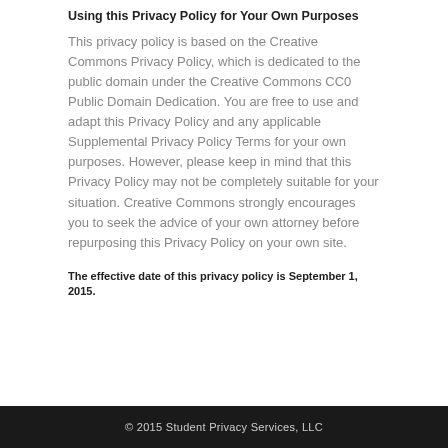Using this Privacy Policy for Your Own Purposes
This privacy policy is based on the Creative Commons Privacy Policy, which is dedicated to the public domain under the Creative Commons CC0 Public Domain Dedication. You are free to use and adapt this Privacy Policy and any applicable Supplemental Privacy Policy Terms for your own purposes. However, please keep in mind that this Privacy Policy may not be completely suitable for your situation. Creative Commons strongly encourages you to seek the advice of your own attorney before repurposing this Privacy Policy on your own site.
The effective date of this privacy policy is September 1, 2015.
© 2015 Student Privacy Services, LLC